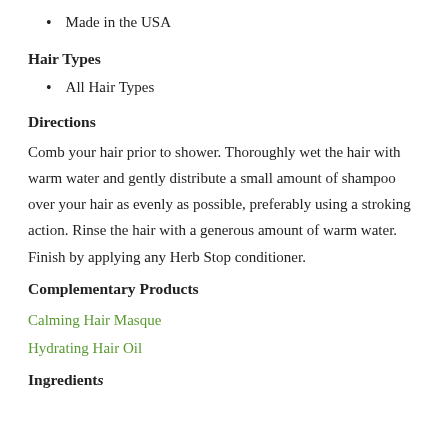Made in the USA
Hair Types
All Hair Types
Directions
Comb your hair prior to shower. Thoroughly wet the hair with warm water and gently distribute a small amount of shampoo over your hair as evenly as possible, preferably using a stroking action. Rinse the hair with a generous amount of warm water. Finish by applying any Herb Stop conditioner.
Complementary Products
Calming Hair Masque
Hydrating Hair Oil
Ingredients